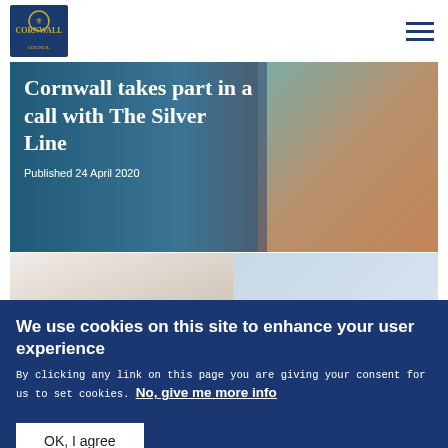UK Government / Cornwall Council - site header with logo and navigation
[Figure (screenshot): Hero image: Cornwall takes part in a call with The Silver Line, showing a dog and teal background. Published 24 April 2020.]
Cornwall takes part in a call with The Silver Line
Published 24 April 2020
[Figure (photo): Second image strip showing a hand/arm on left and a spa/Silver Line logo on right]
We use cookies on this site to enhance your user experience
By clicking any link on this page you are giving your consent for us to set cookies. No, give me more info
OK, I agree